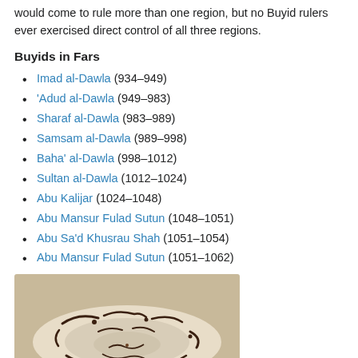would come to rule more than one region, but no Buyid rulers ever exercised direct control of all three regions.
Buyids in Fars
Imad al-Dawla (934–949)
'Adud al-Dawla (949–983)
Sharaf al-Dawla (983–989)
Samsam al-Dawla (989–998)
Baha' al-Dawla (998–1012)
Sultan al-Dawla (1012–1024)
Abu Kalijar (1024–1048)
Abu Mansur Fulad Sutun (1048–1051)
Abu Sa'd Khusrau Shah (1051–1054)
Abu Mansur Fulad Sutun (1051–1062)
[Figure (photo): Photograph of a ceramic bowl or plate with Arabic calligraphic decoration in dark brown/black on a cream/beige background, showing a circular dish with inscriptions around the rim and in the center.]